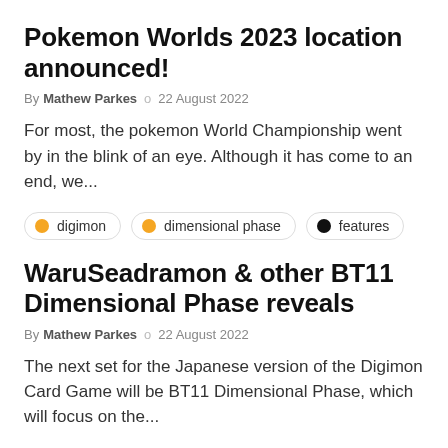Pokemon Worlds 2023 location announced!
By Mathew Parkes  o  22 August 2022
For most, the pokemon World Championship went by in the blink of an eye. Although it has come to an end, we...
digimon
dimensional phase
features
WaruSeadramon & other BT11 Dimensional Phase reveals
By Mathew Parkes  o  22 August 2022
The next set for the Japanese version of the Digimon Card Game will be BT11 Dimensional Phase, which will focus on the...